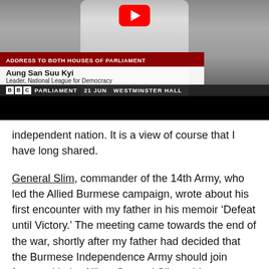[Figure (screenshot): Screenshot of a BBC Parliament YouTube video showing Aung San Suu Kyi addressing both houses of Parliament. Lower thirds show: 'ADDRESS TO BOTH HOUSES OF PARLIAMENT', 'Aung San Suu Kyi / Leader, National League for Democracy', 'BBC PARLIAMENT 21 JUN WESTMINSTER HALL'. A YouTube play button icon is visible at the top.]
independent nation. It is a view of course that I have long shared.
General Slim, commander of the 14th Army, who led the Allied Burmese campaign, wrote about his first encounter with my father in his memoir ‘Defeat until Victory.’ The meeting came towards the end of the war, shortly after my father had decided that the Burmese Independence Army should join forces with the Allies. General Slim said to my father “You’ve only come to us because we are winning.”